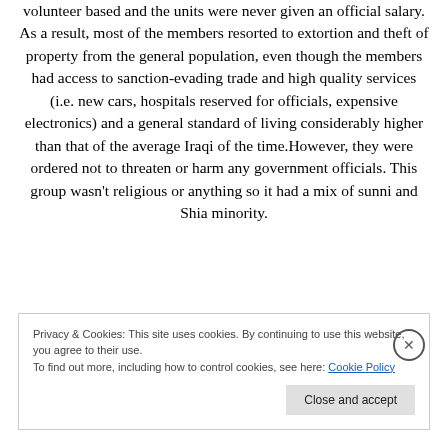volunteer based and the units were never given an official salary. As a result, most of the members resorted to extortion and theft of property from the general population, even though the members had access to sanction-evading trade and high quality services (i.e. new cars, hospitals reserved for officials, expensive electronics) and a general standard of living considerably higher than that of the average Iraqi of the time.However, they were ordered not to threaten or harm any government officials. This group wasn't religious or anything so it had a mix of sunni and Shia minority.
Privacy & Cookies: This site uses cookies. By continuing to use this website, you agree to their use.
To find out more, including how to control cookies, see here: Cookie Policy